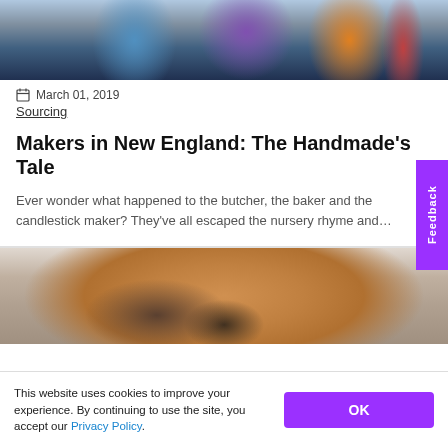[Figure (photo): People at an art/craft event indoors, colorful artwork visible on walls in background]
March 01, 2019
Sourcing
Makers in New England: The Handmade’s Tale
Ever wonder what happened to the butcher, the baker and the candlestick maker? They’ve all escaped the nursery rhyme and…
[Figure (photo): Close-up of food dish, appears to be a mussel or shellfish on a plate with sauce]
This website uses cookies to improve your experience. By continuing to use the site, you accept our Privacy Policy.